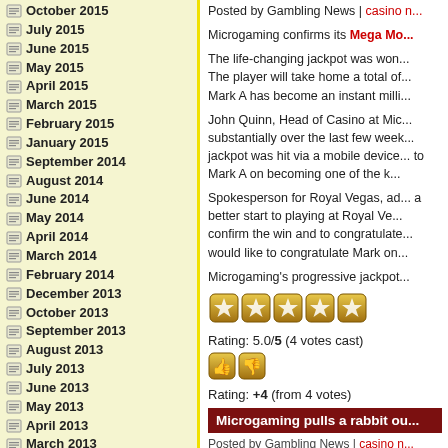October 2015
July 2015
June 2015
May 2015
April 2015
March 2015
February 2015
January 2015
September 2014
August 2014
June 2014
May 2014
April 2014
March 2014
February 2014
December 2013
October 2013
September 2013
August 2013
July 2013
June 2013
May 2013
April 2013
March 2013
February 2013
January 2013
December 2012
November 2012
Posted by Gambling News | casino n...
Microgaming confirms its Mega Mo...
The life-changing jackpot was won... The player will take home a total of... Mark A has become an instant milli...
John Quinn, Head of Casino at Mic... substantially over the last few week... jackpot was hit via a mobile device... to Mark A on becoming one of the k...
Spokesperson for Royal Vegas, ad... a better start to playing at Royal Ve... confirm the win and to congratulate... would like to congratulate Mark on...
Microgaming's progressive jackpot...
Rating: 5.0/5 (4 votes cast)
Rating: +4 (from 4 votes)
Microgaming pulls a rabbit ou...
Posted by Gambling News | casino n...
Microgaming is set to release its...
Rabbit in the Hat is a 5×3 reel, nine...